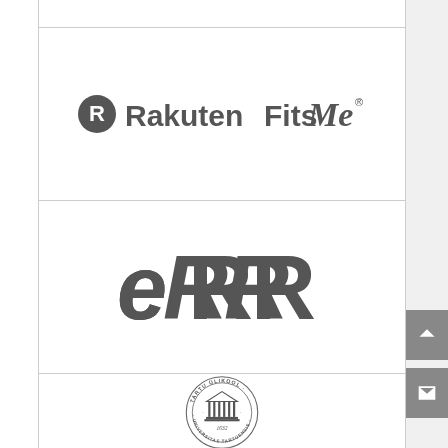[Figure (logo): Rakuten FitsMe logo with R circle icon and stylized text]
[Figure (logo): ERR logo - bold rounded lettering in dark gray]
[Figure (logo): Tartu Ülikool (University of Tartu) circular seal with building and text 'TARTU ÜLIKOOL · UNIVERSITAS TARTUENSIS · 1632']